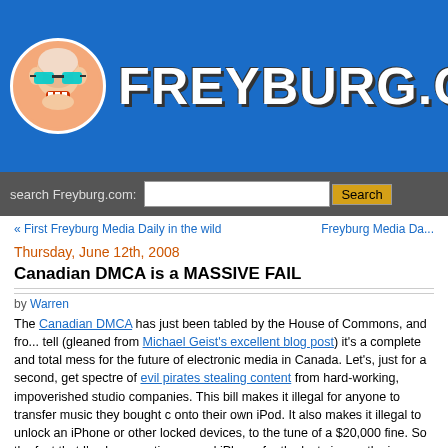[Figure (logo): Freyburg.com website header with cartoon mascot (bald man with sunglasses) and site title FREYBURG.COM in white bold letters on blue background]
search Freyburg.com: [search input] Search
« First Freyburg Media Daily in the wild    Freyburg Media Da...
Thursday, June 12th, 2008
Canadian DMCA is a MASSIVE FAIL
by Warren
The Canadian DMCA has just been tabled by the House of Commons, and from what I can tell (gleaned from Michael Geist's excellent blog post) it's a complete and total mess for the future of electronic media in Canada. Let's, just for a second, get past the spectre of evil pirates stealing content from hard-working, impoverished studio companies. This bill makes it illegal for anyone to transfer music they bought on CD onto their own iPod. It also makes it illegal to unlock an iPhone or other locked devices, to the tune of a $20,000 fine. So the fact that I've been carting around an iPhone for the last six months is apparently more important than the fact that our representatives in Parliament consort with gangster molls or that the Alberta tar sands are an ecological disaster area. No, people downloading the latest Coldplay album is what law enforcement services should concern themselves with.
The real irony here is that the studios are the authors of their own destruction, because...